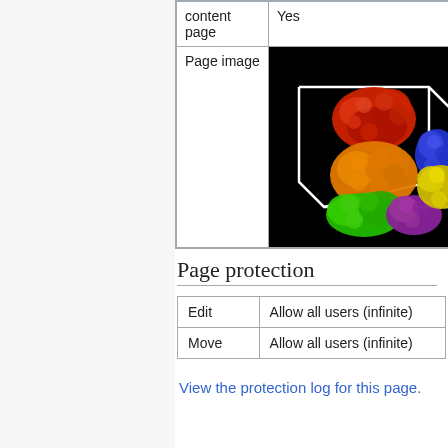|  |  |
| --- | --- |
| content page | Yes |
| Page image | [molecular image] |
[Figure (photo): 3D molecular structure visualization showing colored protein/molecule blobs (red, orange, green, purple, blue, yellow) inside a white wireframe box on black background]
Page protection
| Edit | Allow all users (infinite) |
| --- | --- |
| Edit | Allow all users (infinite) |
| Move | Allow all users (infinite) |
View the protection log for this page.